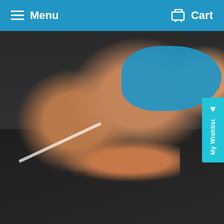Menu   Cart
[Figure (photo): Screenshot of Wrestler4Hire website showing wrestlers grappling on a mat, with navigation bar, thumbnail images, My Wishlist tab, and a discount popup modal]
Welcome!
You've unlocked 15% off your first order!
Where should we send it?
GET DISCOUNT NOW